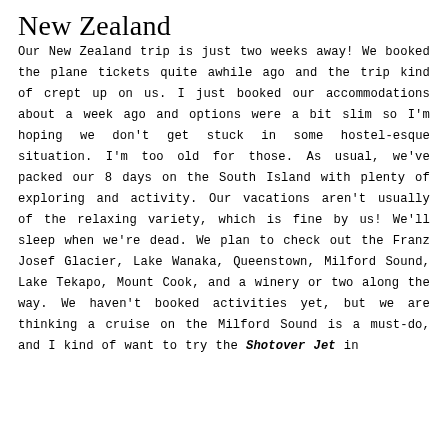New Zealand
Our New Zealand trip is just two weeks away! We booked the plane tickets quite awhile ago and the trip kind of crept up on us. I just booked our accommodations about a week ago and options were a bit slim so I'm hoping we don't get stuck in some hostel-esque situation. I'm too old for those. As usual, we've packed our 8 days on the South Island with plenty of exploring and activity. Our vacations aren't usually of the relaxing variety, which is fine by us! We'll sleep when we're dead. We plan to check out the Franz Josef Glacier, Lake Wanaka, Queenstown, Milford Sound, Lake Tekapo, Mount Cook, and a winery or two along the way. We haven't booked activities yet, but we are thinking a cruise on the Milford Sound is a must-do, and I kind of want to try the Shotover Jet in